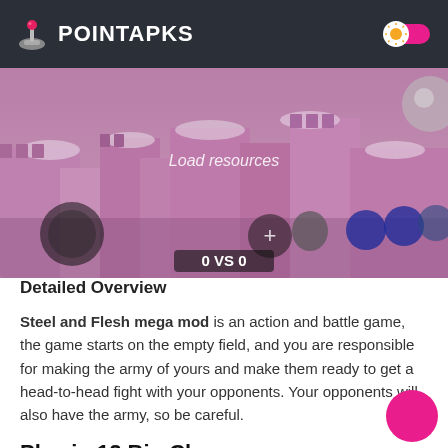POINTAPKS
[Figure (screenshot): Game screenshot of Steel and Flesh showing a medieval battle map with castle terrain in pink/purple tones, joystick controls, '0 VS 0' score display, and 'Load resources' text overlay]
Detailed Overview
Steel and Flesh mega mod is an action and battle game, the game starts on the empty field, and you are responsible for making the army of yours and make them ready to get a head-to-head fight with your opponents. Your opponents will also have the army, so be careful.
Play in 12 Big Clans
There are 12 big clans in which you can play, and many players